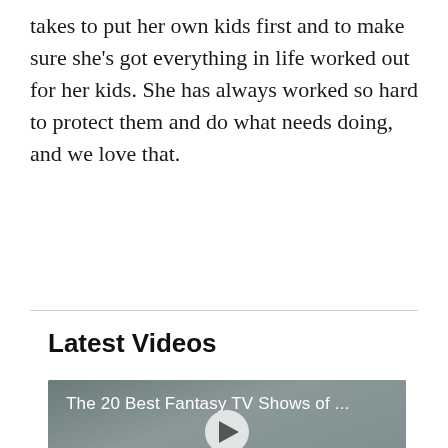takes to put her own kids first and to make sure she's got everything in life worked out for her kids. She has always worked so hard to protect them and do what needs doing, and we love that.
Latest Videos
[Figure (screenshot): Video thumbnail showing 'The 20 Best Fantasy TV Shows of ...' with a TVOM logo and a play button in the center]